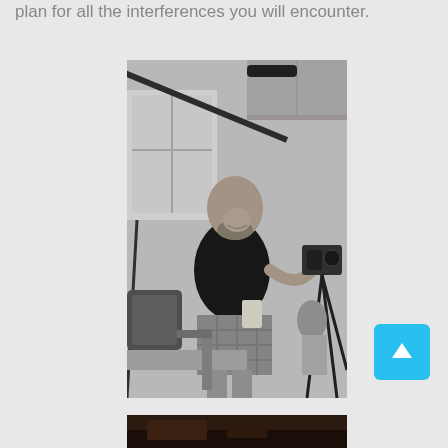plan for all the interferences you will encounter.
[Figure (photo): Black and white photo of a bald man with a beard operating a video camera on a tripod in an indoor setting, likely a kitchen. He is wearing a black t-shirt and plaid shorts. A boom microphone arm is visible above.]
[Figure (photo): Partially visible photo at the bottom of the page, appears dark/underexposed.]